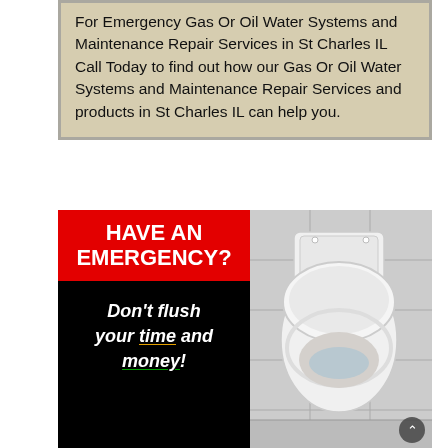For Emergency Gas Or Oil Water Systems and Maintenance Repair Services in St Charles IL Call Today to find out how our Gas Or Oil Water Systems and Maintenance Repair Services and products in St Charles IL can help you.
[Figure (infographic): Emergency plumbing advertisement banner split into two panels. Left panel: black background with red bar reading 'HAVE AN EMERGENCY?' and white italic text 'Don't flush your time and money!' with 'time' underlined in yellow/orange and 'money' underlined in green. Right panel: photograph of a white porcelain toilet with lid open in a tiled bathroom.]